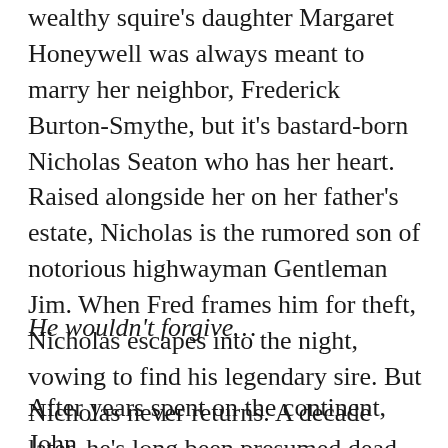wealthy squire's daughter Margaret Honeywell was always meant to marry her neighbor, Frederick Burton-Smythe, but it's bastard-born Nicholas Seaton who has her heart. Raised alongside her on her father's estate, Nicholas is the rumored son of notorious highwayman Gentleman Jim. When Fred frames him for theft, Nicholas escapes into the night, vowing to find his legendary sire. But Nicholas never returns. A decade later, he's long been presumed dead.
He wouldn't forgive…
After years spent on the continent, John